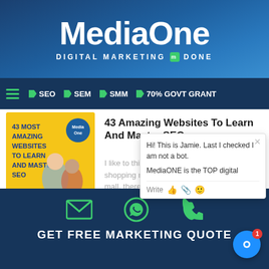MediaOne — DIGITAL MARKETING DONE
SEO | SEM | SMM | 70% GOVT GRANT
43 Amazing Websites To Learn And Master SEO
I like to think of the internet as one big shopping mall. And like any good shopping mall, there are tons of stores (or, in
How To Find The Right Digital Marketers For Your Team
No person is an island. The...
Hi! This is Jamie. Last I checked I am not a bot. MediaONE is the TOP digital
GET FREE MARKETING QUOTE